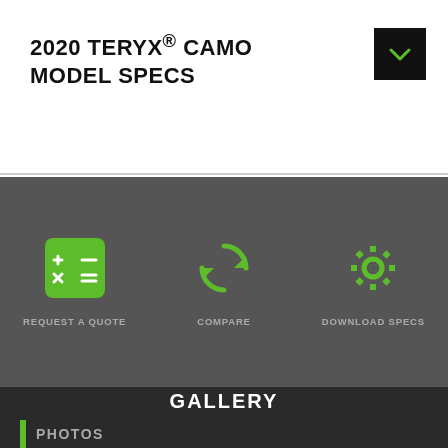2020 TERYX® CAMO MODEL SPECS
[Figure (screenshot): Dark grey action bar with three icon buttons: REQUEST A QUOTE (green calculator icon), COMPARE (green refresh/compare arrows icon), DOWNLOAD SPECS (green gear icon)]
GALLERY
PHOTOS